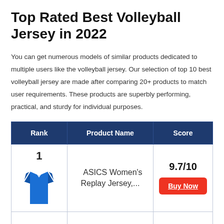Top Rated Best Volleyball Jersey in 2022
You can get numerous models of similar products dedicated to multiple users like the volleyball jersey. Our selection of top 10 best volleyball jersey are made after comparing 20+ products to match user requirements. These products are superbly performing, practical, and sturdy for individual purposes.
| Rank | Product Name | Score |
| --- | --- | --- |
| 1 [jersey image] | ASICS Women's Replay Jersey,... | 9.7/10 Buy Now |
|  |  |  |